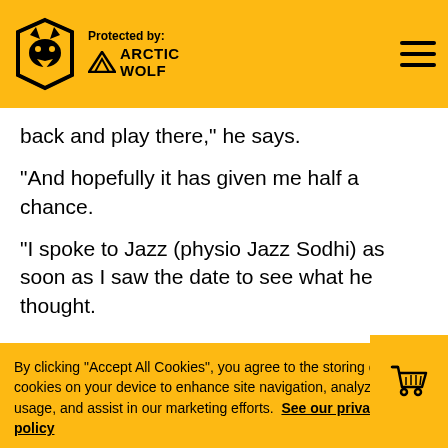Protected by: Arctic Wolf [Wolverhampton Wanderers logo] [Hamburger menu]
back and play there," he says.
“And hopefully it has given me half a chance.
“I spoke to Jazz (physio Jazz Sodhi) as soon as I saw the date to see what he thought.
By clicking “Accept All Cookies”, you agree to the storing of cookies on your device to enhance site navigation, analyze site usage, and assist in our marketing efforts. See our privacy policy
Cookies Settings
Reject All